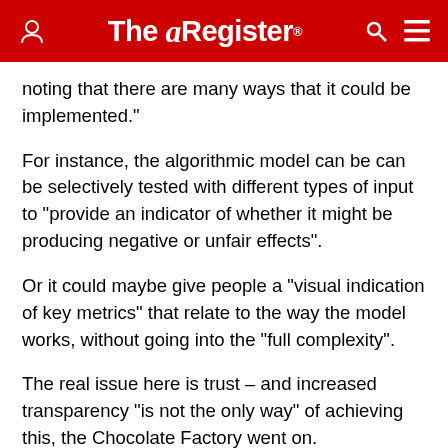The Register
noting that there are many ways that it could be implemented."
For instance, the algorithmic model can be can be selectively tested with different types of input to "provide an indicator of whether it might be producing negative or unfair effects".
Or it could maybe give people a "visual indication of key metrics" that relate to the way the model works, without going into the "full complexity".
The real issue here is trust – and increased transparency "is not the only way" of achieving this, the Chocolate Factory went on.